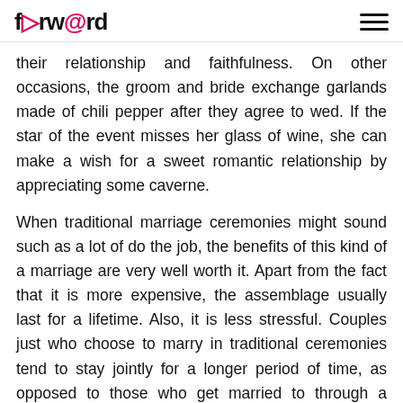forw@rd
their relationship and faithfulness. On other occasions, the groom and bride exchange garlands made of chili pepper after they agree to wed. If the star of the event misses her glass of wine, she can make a wish for a sweet romantic relationship by appreciating some caverne.
When traditional marriage ceremonies might sound such as a lot of do the job, the benefits of this kind of a marriage are very well worth it. Apart from the fact that it is more expensive, the assemblage usually last for a lifetime. Also, it is less stressful. Couples just who choose to marry in traditional ceremonies tend to stay jointly for a longer period of time, as opposed to those who get married to through a municipal ceremony. For some lovers, the idea of long-lasting a marriage for a very long time is too much to handle. When couples want to wed through a marriage